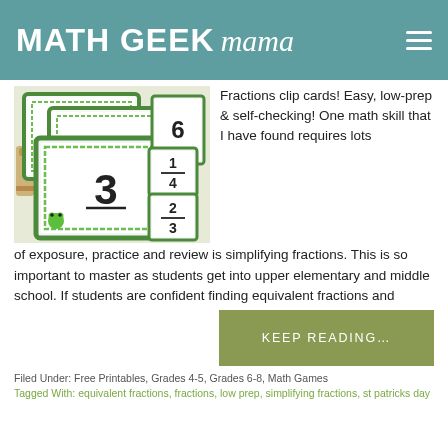MATH GEEK mama
[Figure (photo): Photo of St. Patrick's Day fractions clip cards with green borders showing numbers like 4, 2, 6, 3, 1/4, 2/3, and clothespins on a white background.]
Fractions clip cards! Easy, low-prep & self-checking! One math skill that I have found requires lots of exposure, practice and review is simplifying fractions. This is so important to master as students get into upper elementary and middle school. If students are confident finding equivalent fractions and
KEEP READING…
Filed Under: Free Printables, Grades 4-5, Grades 6-8, Math Games
Tagged With: equivalent fractions, fractions, low prep, simplifying fractions, st patricks day